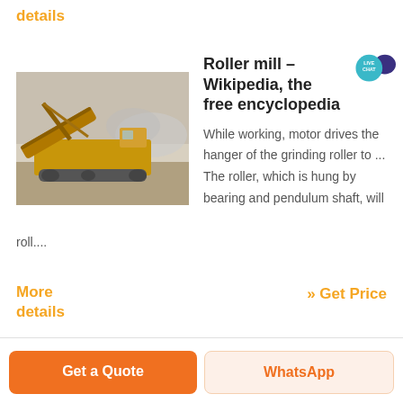details
[Figure (photo): Yellow heavy mining/crushing machine on gravel terrain with dust]
Roller mill – Wikipedia, the free encyclopedia
While working, motor drives the hanger of the grinding roller to ... The roller, which is hung by bearing and pendulum shaft, will roll....
More details
» Get Price
Get a Quote
WhatsApp